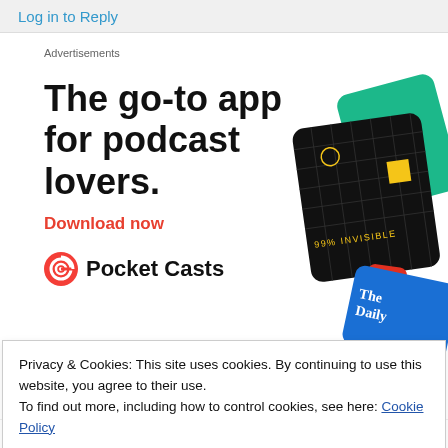Log in to Reply
Advertisements
[Figure (illustration): Pocket Casts app advertisement showing podcast cover cards (99% Invisible, The Daily, On Being) floating at an angle, with bold headline 'The go-to app for podcast lovers.' and a red 'Download now' CTA, plus the Pocket Casts logo with circular icon.]
Privacy & Cookies: This site uses cookies. By continuing to use this website, you agree to their use.
To find out more, including how to control cookies, see here: Cookie Policy
Close and accept
Halo, salam kenal. Suka sekali membaca